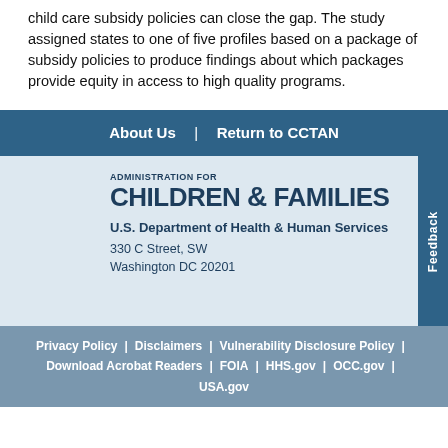child care subsidy policies can close the gap. The study assigned states to one of five profiles based on a package of subsidy policies to produce findings about which packages provide equity in access to high quality programs.
About Us | Return to CCTAN
[Figure (logo): Administration for Children & Families logo]
U.S. Department of Health & Human Services
330 C Street, SW
Washington DC 20201
Privacy Policy | Disclaimers | Vulnerability Disclosure Policy | Download Acrobat Readers | FOIA | HHS.gov | OCC.gov | USA.gov